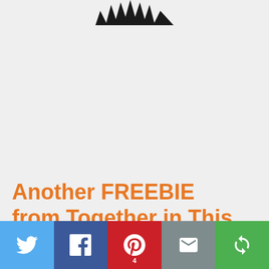[Figure (illustration): Partial black spiky/jagged logo or graphic at the top center, cropped at the top edge]
Another FREEBIE from Together in This
[Figure (infographic): Social sharing bar with Twitter, Facebook, Pinterest (count: 4), Email, and a circular arrow icon buttons]